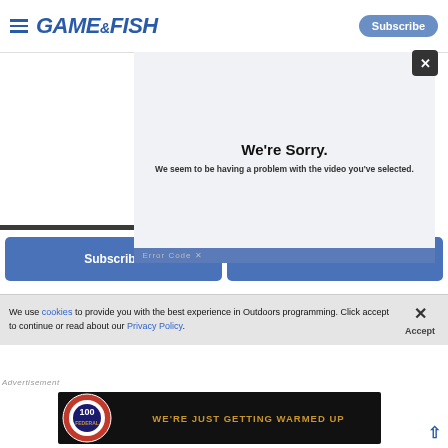GAME&FISH | Subscribe
[Figure (screenshot): Video player error overlay showing 'We're Sorry. We seem to be having a problem with the video you've selected.' with a close button and error code bar]
Subscribe
We use cookies to provide you with the best experience in Outdoors programming. Click accept to continue or read about our Privacy Policy.
[Figure (photo): Federal ammunition 100th anniversary advertisement banner with logo and text 'WE'RE JUST GETTING WARMED UP' on black background]